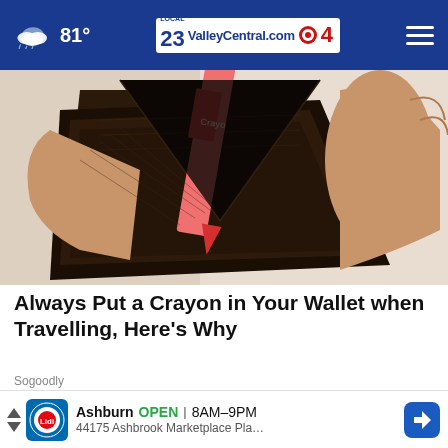81° ValleyCentral.com 23 4
[Figure (photo): Close-up photo of a wallet being opened with a pink Crayola crayon inside it, held by a person's hands.]
Always Put a Crayon in Your Wallet when Travelling, Here's Why
Sogoodly
[Figure (photo): Partial photo of a person with brown hair, cropped, with a Lidl advertisement overlay at the bottom.]
Ashburn OPEN | 8AM–9PM 44175 Ashbrook Marketplace Pla…